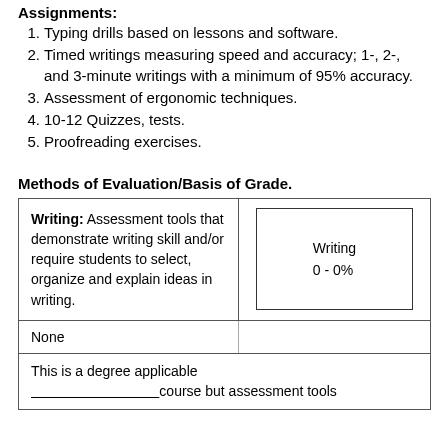Assignments:
1.  Typing drills based on lessons and software.
2.  Timed writings measuring speed and accuracy; 1-, 2-, and 3-minute writings with a minimum of 95% accuracy.
3.   Assessment of ergonomic techniques.
4.  10-12 Quizzes, tests.
5.   Proofreading exercises.
Methods of Evaluation/Basis of Grade.
| Writing description | Writing 0 - 0% |
| --- | --- |
| Writing: Assessment tools that demonstrate writing skill and/or require students to select, organize and explain ideas in writing. | Writing
0 - 0% |
| None |  |
| This is a degree applicable course but assessment tools |  |
This is a degree applicable course but assessment tools